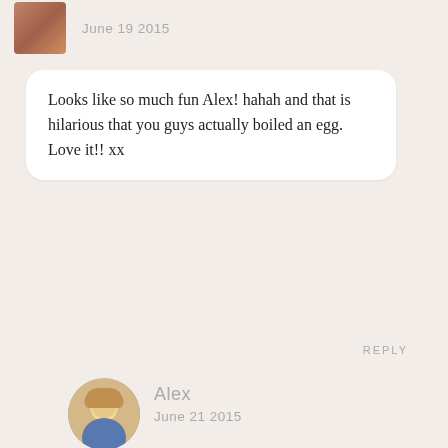June 19 2015
Looks like so much fun Alex! hahah and that is hilarious that you guys actually boiled an egg. Love it!! xx
REPLY
Alex
June 21 2015
It was definitely a first for me underwater 🙂
REPLY
Maxi
June 19 2015